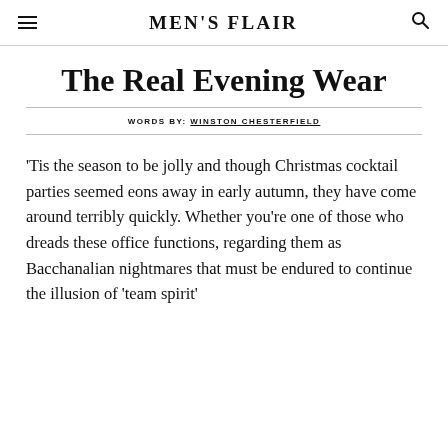MEN'S FLAIR
The Real Evening Wear
WORDS BY: WINSTON CHESTERFIELD
'Tis the season to be jolly and though Christmas cocktail parties seemed eons away in early autumn, they have come around terribly quickly. Whether you're one of those who dreads these office functions, regarding them as Bacchanalian nightmares that must be endured to continue the illusion of 'team spirit'